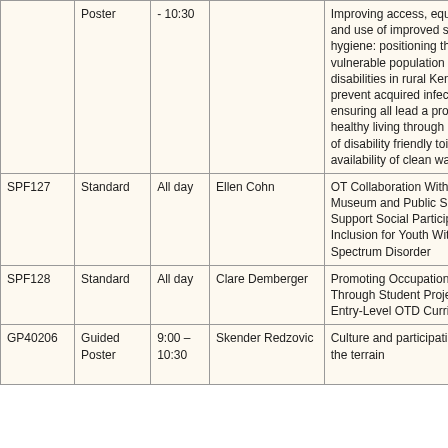| ID | Type | Time | Author | Title | Track |
| --- | --- | --- | --- | --- | --- |
|  | Poster | - 10:30 |  | Improving access, equity, inclusion and use of improved sanitation and hygiene: positioning the most vulnerable population with severe disabilities in rural Kenya, to prevent acquired infections thereby ensuring all lead a productive healthy living through constructions of disability friendly toilets and availability of clean water | Commu Develop |
| SPF127 | Standard | All day | Ellen Cohn | OT Collaboration With a Science Museum and Public School to Support Social Participation and Inclusion for Youth With Autism Spectrum Disorder | Occupa Commu Develop |
| SPF128 | Standard | All day | Clare Demberger | Promoting Occupational Justice Through Student Projects in the Entry-Level OTD Curriculum | Occupa Commu Develop |
| GP40206 | Guided Poster | 9:00 – 10:30 | Skender Redzovic | Culture and participation - mapping the terrain | Occupa Commu Develop |